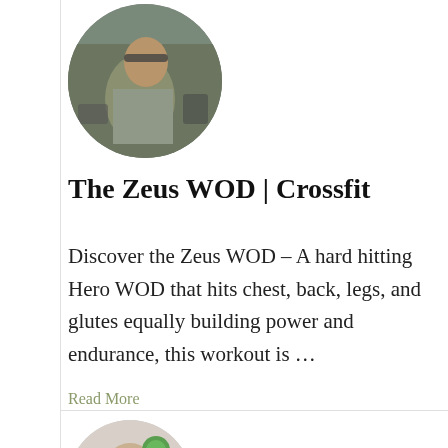[Figure (photo): Circular avatar photo of a person in military/pilot uniform sitting in a cockpit with headset on]
The Zeus WOD | Crossfit
Discover the Zeus WOD – A hard hitting Hero WOD that hits chest, back, legs, and glutes equally building power and endurance, this workout is …
Read More
[Figure (photo): Circular avatar photo partially visible at bottom of page, showing a person's face]